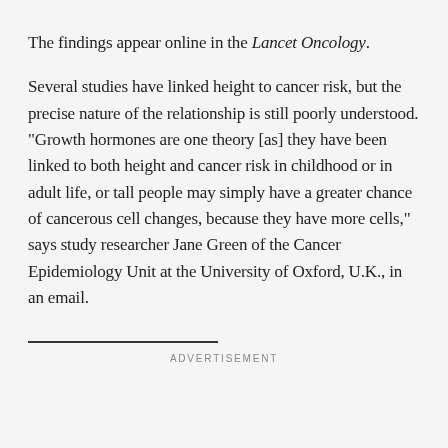The findings appear online in the Lancet Oncology.
Several studies have linked height to cancer risk, but the precise nature of the relationship is still poorly understood. "Growth hormones are one theory [as] they have been linked to both height and cancer risk in childhood or in adult life, or tall people may simply have a greater chance of cancerous cell changes, because they have more cells," says study researcher Jane Green of the Cancer Epidemiology Unit at the University of Oxford, U.K., in an email.
ADVERTISEMENT